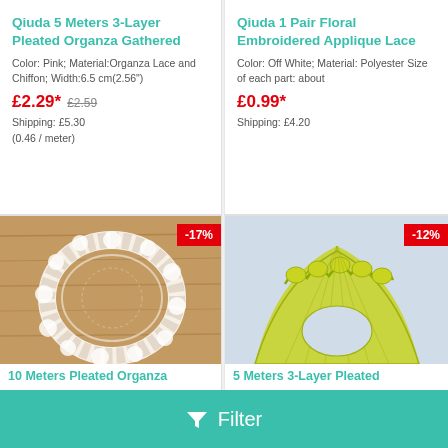Qiuda 5 Meters 3-Layer Pleated Organza Gathered
Color: Pink; Material:Organza Lace and Chiffon; Width:6.5 cm(2.56")
£2.29* £2.59
Shipping: £5.30
(0.46 / meter)
Qiuda 1 Pair Floral Embroidered Applique Lace
Color: Off White; Material: Polyester Size of each part: about
£0.99*
Shipping: £4.20
[Figure (photo): Pleated organza lace trim in clear/white on wooden background, circular arrangement, with -17% discount badge]
10 Meters Pleated Organza
[Figure (photo): Yellow-green pleated organza lace gathered trim on light blue background, with -12% discount badge]
5 Meters 3-Layer Pleated
Filter